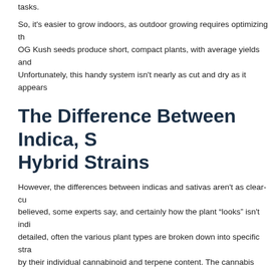tasks.
So, it's easier to grow indoors, as outdoor growing requires optimizing th... OG Kush seeds produce short, compact plants, with average yields and... Unfortunately, this handy system isn't nearly as cut and dry as it appears...
The Difference Between Indica, S... Hybrid Strains
However, the differences between indicas and sativas aren't as clear-cu... believed, some experts say, and certainly how the plant “looks” isn't indi... detailed, often the various plant types are broken down into specific stra... by their individual cannabinoid and terpene content. The cannabis plant'... determine a strain's overall effects. As cannabis becomes more mainstr... legalized marijuana becomes more acceptable, the idea of an indica or a... muddled. But products containing the cannabinoids and terpenes that gi... becoming more of a mainstay in the medical field. The effects produced... energizing, active, and cerebral.
Also because smoking Sativa strains result in an energetic high they're g... While sativa and indica strains offer a wide variety of options, hybrid stra... needn't be energizing or relaxing, all-or-nothing. They help ensure that t... is also a world of variety. When thinking about the different marijuana str...